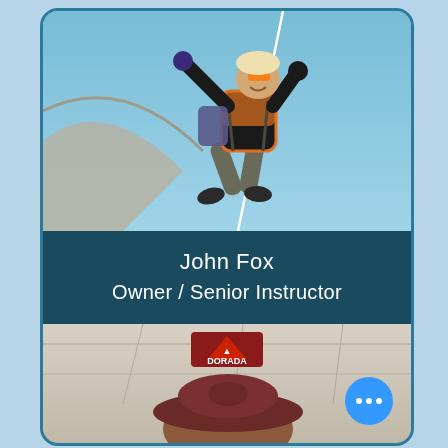[Figure (photo): Person rappelling/abseiling outdoors against blue sky, wearing black and orange vest, harness, shorts, gloves. Rope visible.]
John Fox
Owner / Senior Instructor
[Figure (photo): Person wearing a dark maroon/burgundy baseball cap with Dorada logo visible on ceiling above. Indoor setting with white ceiling panels.]